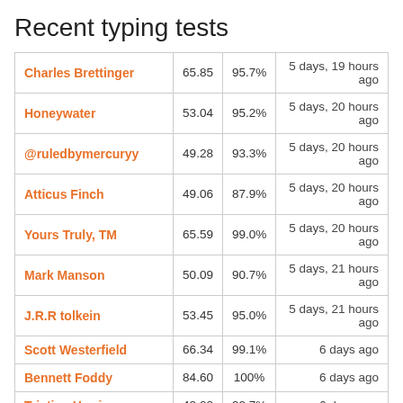Recent typing tests
| Name | WPM | Accuracy | When |
| --- | --- | --- | --- |
| Charles Brettinger | 65.85 | 95.7% | 5 days, 19 hours ago |
| Honeywater | 53.04 | 95.2% | 5 days, 20 hours ago |
| @ruledbymercuryy | 49.28 | 93.3% | 5 days, 20 hours ago |
| Atticus Finch | 49.06 | 87.9% | 5 days, 20 hours ago |
| Yours Truly, TM | 65.59 | 99.0% | 5 days, 20 hours ago |
| Mark Manson | 50.09 | 90.7% | 5 days, 21 hours ago |
| J.R.R tolkein | 53.45 | 95.0% | 5 days, 21 hours ago |
| Scott Westerfield | 66.34 | 99.1% | 6 days ago |
| Bennett Foddy | 84.60 | 100% | 6 days ago |
| Tristian Harris | 42.02 | 92.7% | 6 days ago |
Last login: 5 months, 1 week ago
Date joined: 5 months, 1 week ago